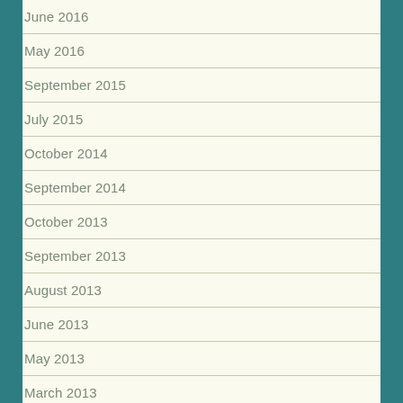June 2016
May 2016
September 2015
July 2015
October 2014
September 2014
October 2013
September 2013
August 2013
June 2013
May 2013
March 2013
February 2011
January 2011